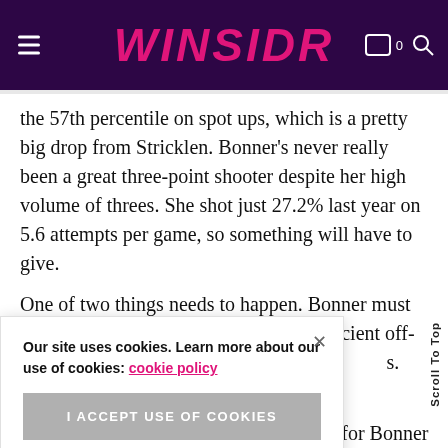WINSIDR
the 57th percentile on spot ups, which is a pretty big drop from Stricklen. Bonner's never really been a great three-point shooter despite her high volume of threes. She shot just 27.2% last year on 5.6 attempts per game, so something will have to give.
One of two things needs to happen. Bonner must improve her shooting and be a more efficient off-ball [player to make sure she's worth the shots]. This would [require Bonner to improve her three-point shooting].
Taking fewer threes is probably the key for Bonner